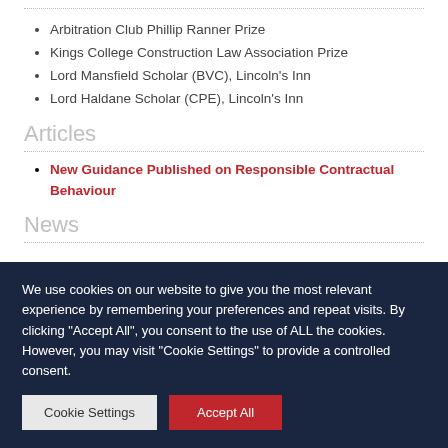Arbitration Club Phillip Ranner Prize
Kings College Construction Law Association Prize
Lord Mansfield Scholar (BVC), Lincoln's Inn
Lord Haldane Scholar (CPE), Lincoln's Inn
Articles
New Guidance Published on Responsible Contractual Behaviour
News
We use cookies on our website to give you the most relevant experience by remembering your preferences and repeat visits. By clicking “Accept All”, you consent to the use of ALL the cookies. However, you may visit "Cookie Settings" to provide a controlled consent.
Cookie Settings | Accept All